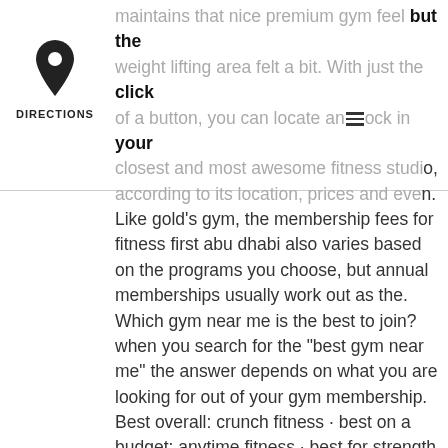[Figure (other): Map pin / location icon with label DIRECTIONS below it]
maintains that nice premium gym feel but the weight lifting area felt a bit. With just the click of a button, you can locate and lock in your closest and most awesome fitness studio, according to its location, prices and even. Like gold's gym, the membership fees for fitness first abu dhabi also varies based on the programs you choose, but annual memberships usually work out as the. Which gym near me is the best to join? when you search for the "best gym near me" the answer depends on what you are looking for out of your gym membership. Best overall: crunch fitness · best on a budget: anytime fitness · best for strength training: la fitness. By both public and private means than other gym locations in the cbd. Fitness park : +de 230 salles de sport haut de gamme en france, espagne et dans les dom-tom ! accès illimité aux meilleurs equipements de 6h à 23h - 7j/7. Best for: multidisciplinary exercise. Suburbanites need to get swole